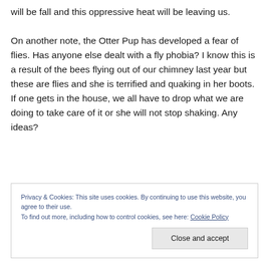will be fall and this oppressive heat will be leaving us.

On another note, the Otter Pup has developed a fear of flies. Has anyone else dealt with a fly phobia? I know this is a result of the bees flying out of our chimney last year but these are flies and she is terrified and quaking in her boots. If one gets in the house, we all have to drop what we are doing to take care of it or she will not stop shaking. Any ideas?
Privacy & Cookies: This site uses cookies. By continuing to use this website, you agree to their use.
To find out more, including how to control cookies, see here: Cookie Policy
Close and accept